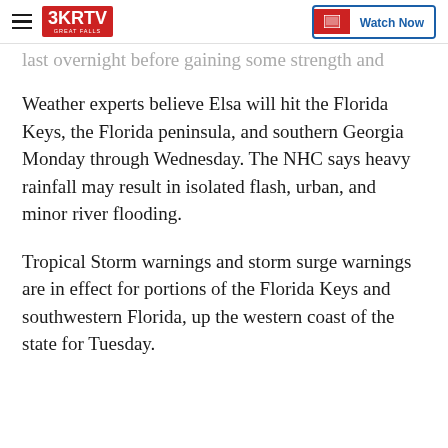3KRTV Great Falls | Watch Now
...last overnight before gaining some strength and making landfall again on the west coast of Florida.
Weather experts believe Elsa will hit the Florida Keys, the Florida peninsula, and southern Georgia Monday through Wednesday. The NHC says heavy rainfall may result in isolated flash, urban, and minor river flooding.
Tropical Storm warnings and storm surge warnings are in effect for portions of the Florida Keys and southwestern Florida, up the western coast of the state for Tuesday.